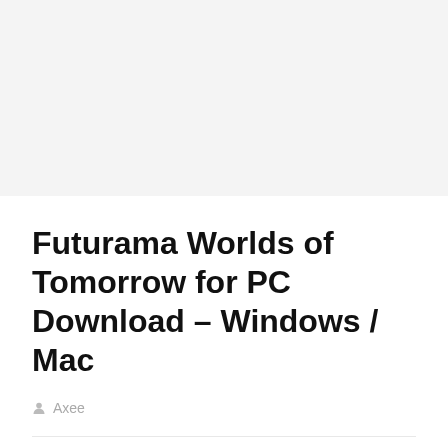[Figure (other): Light gray banner/header area at top of page]
Futurama Worlds of Tomorrow for PC Download – Windows / Mac
Axee